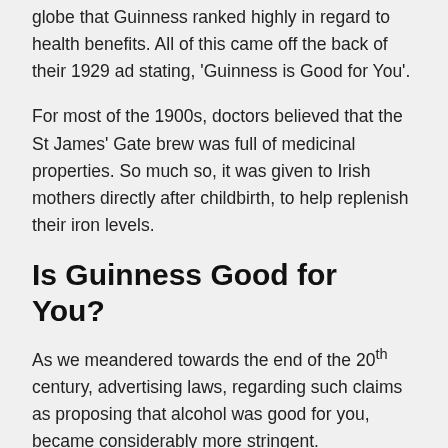globe that Guinness ranked highly in regard to health benefits. All of this came off the back of their 1929 ad stating, 'Guinness is Good for You'.
For most of the 1900s, doctors believed that the St James' Gate brew was full of medicinal properties. So much so, it was given to Irish mothers directly after childbirth, to help replenish their iron levels.
Is Guinness Good for You?
As we meandered towards the end of the 20th century, advertising laws, regarding such claims as proposing that alcohol was good for you, became considerably more stringent.
Guinness eventually …